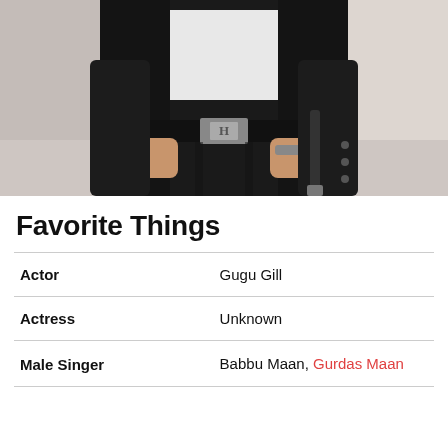[Figure (photo): Person wearing a black leather jacket and black jeans with a silver Hermès belt, posing with hands in pockets against a light background.]
Favorite Things
|  |  |
| --- | --- |
| Actor | Gugu Gill |
| Actress | Unknown |
| Male Singer | Babbu Maan, Gurdas Maan |